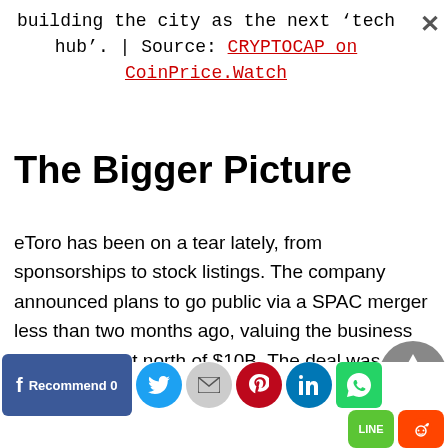building the city as the next 'tech hub'. | Source: CRYPTOCAP on CoinPrice.Watch
The Bigger Picture
eToro has been on a tear lately, from sponsorships to stock listings. The company announced plans to go public via a SPAC merger less than two months ago, valuing the business combination at north of $10B. The deal was done with a SPAC team led by fintech veteran
Facebook Recommend 0 | Twitter | Email | Pinterest | LinkedIn | WhatsApp | LINE | Reddit | Tumblr